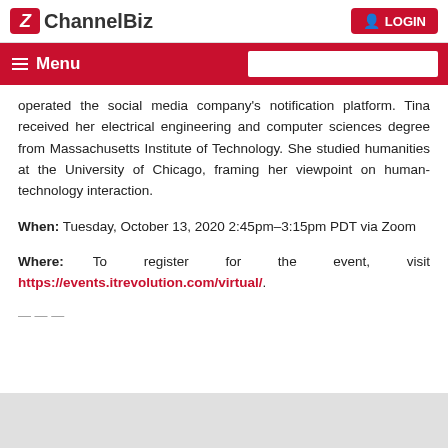ChannelBiz | LOGIN
Menu
operated the social media company's notification platform. Tina received her electrical engineering and computer sciences degree from Massachusetts Institute of Technology. She studied humanities at the University of Chicago, framing her viewpoint on human-technology interaction.
When: Tuesday, October 13, 2020 2:45pm–3:15pm PDT via Zoom
Where: To register for the event, visit https://events.itrevolution.com/virtual/.